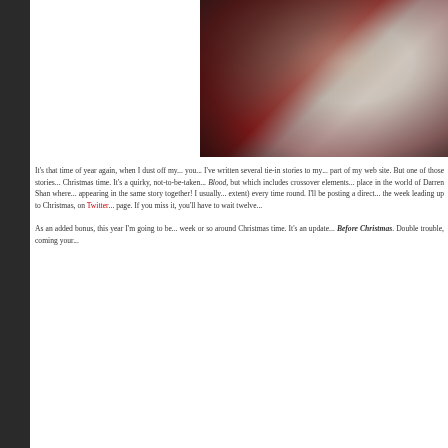[Figure (photo): Dark close-up photograph in upper right corner, showing what appears to be a dramatic dark-toned image with red and grey tones, possibly a fantasy/horror themed character or scene.]
It's that time of year again, when I dust off m... you... I've written several tie-in stories to my... part of my web site. But one of those stories... Christmas time. It's a quirky, not-to-be-take... Blood, but which includes crossover elements... place in the world of Darren Shan where... appearing in the same story together! I usua... extent) every time round. I'll be posting a dir... the week leading up to Christmas, on Twitter... page. If you miss it, you'll have to wait twelve...
As an added bonus, this year I'm going to be... week or so around Christmas time. It's an upd... Before Christmas. Double trouble, coming yo...